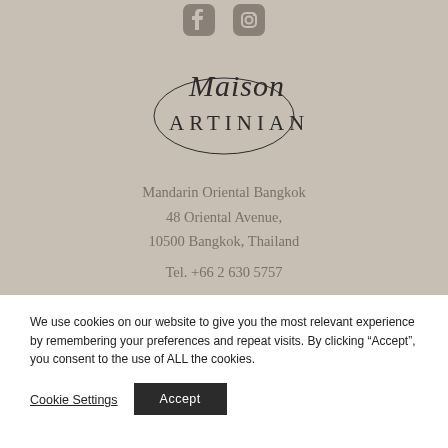[Figure (logo): Social media icons: Facebook and Instagram, gray colored on beige background]
[Figure (logo): Maison Artinian logo: cursive script 'Maison' above 'ARTINIAN' in uppercase serif with decorative oval border]
Mandarin Oriental Bangkok
48 Oriental Avenue,
10500 Bangkok, Thailand
Tel. +66 2 630 5757
We use cookies on our website to give you the most relevant experience by remembering your preferences and repeat visits. By clicking “Accept”, you consent to the use of ALL the cookies.
Cookie Settings
Accept